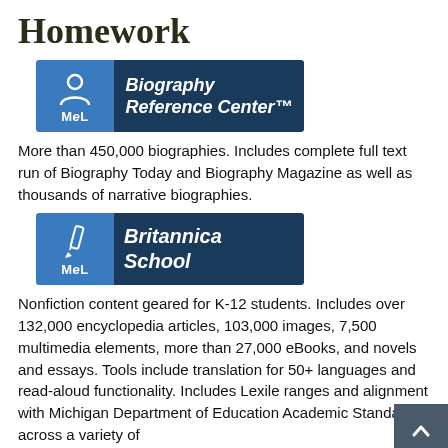Homework
[Figure (logo): Biography Reference Center™ banner with MeL logo icon (person silhouette) on blue background]
More than 450,000 biographies. Includes complete full text run of Biography Today and Biography Magazine as well as thousands of narrative biographies.
[Figure (logo): Britannica School banner with MeL logo icon (pencil) on blue background]
Nonfiction content geared for K-12 students. Includes over 132,000 encyclopedia articles, 103,000 images, 7,500 multimedia elements, more than 27,000 eBooks, and novels and essays. Tools include translation for 50+ languages and read-aloud functionality. Includes Lexile ranges and alignment with Michigan Department of Education Academic Standards across a variety of